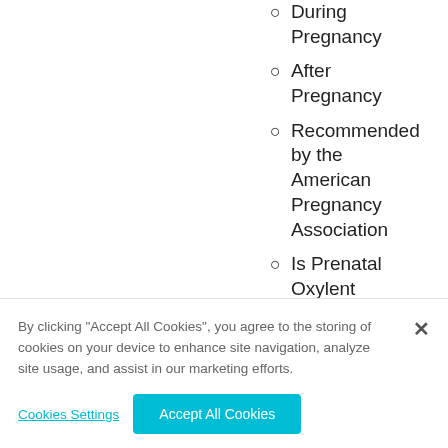During Pregnancy
After Pregnancy
Recommended by the American Pregnancy Association
Is Prenatal Oxylent
By clicking “Accept All Cookies”, you agree to the storing of cookies on your device to enhance site navigation, analyze site usage, and assist in our marketing efforts.
Cookies Settings
Accept All Cookies